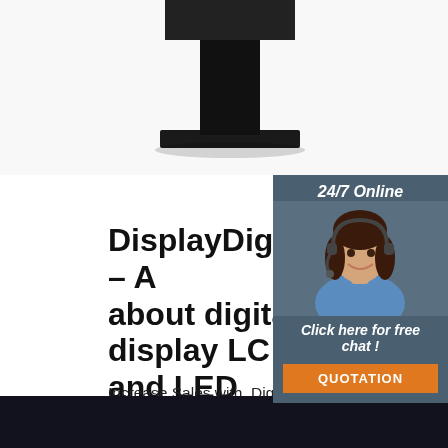[Figure (photo): Dark monitor stand product image at the top of the page]
[Figure (photo): 24/7 Online support widget with female agent wearing headset, and orange QUOTATION button]
DisplayDigitalStore – A about digital display LC and LED
Increase Sales with. Digital Display. Sign Digital store Led and Lcd. Many Brand L LCD. on the world in here. Free Delivery oders over $99. 30 Days Return.
[Figure (other): Green Get Price button]
[Figure (other): Orange TOP back-to-top icon with dots]
[Figure (photo): Dark bottom strip image]